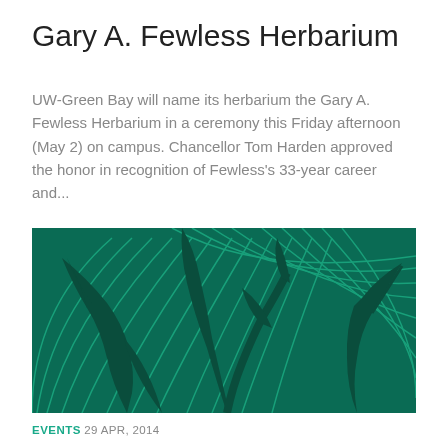Gary A. Fewless Herbarium
UW-Green Bay will name its herbarium the Gary A. Fewless Herbarium in a ceremony this Friday afternoon (May 2) on campus. Chancellor Tom Harden approved the honor in recognition of Fewless's 33-year career and...
[Figure (illustration): Green decorative illustration with stylized leaf/plant silhouettes on a dark green background with concentric arc line patterns]
EVENTS  29 APR, 2014
Details of Friday's Fewless reception: